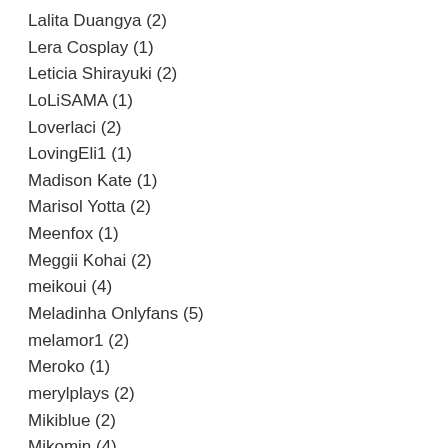Lalita Duangya (2)
Lera Cosplay (1)
Leticia Shirayuki (2)
LoLiSAMA (1)
Loverlaci (2)
LovingEli1 (1)
Madison Kate (1)
Marisol Yotta (2)
Meenfox (1)
Meggii Kohai (2)
meikoui (4)
Meladinha Onlyfans (5)
melamor1 (2)
Meroko (1)
merylplays (2)
Mikiblue (2)
Mikomin (4)
Mimsyheart (2)
Misa　Cosplay (1)